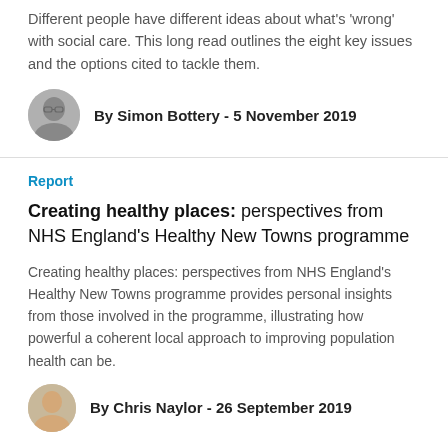Different people have different ideas about what’s ‘wrong’ with social care. This long read outlines the eight key issues and the options cited to tackle them.
By Simon Bottery - 5 November 2019
Report
Creating healthy places: perspectives from NHS England’s Healthy New Towns programme
Creating healthy places: perspectives from NHS England’s Healthy New Towns programme provides personal insights from those involved in the programme, illustrating how powerful a coherent local approach to improving population health can be.
By Chris Naylor - 26 September 2019